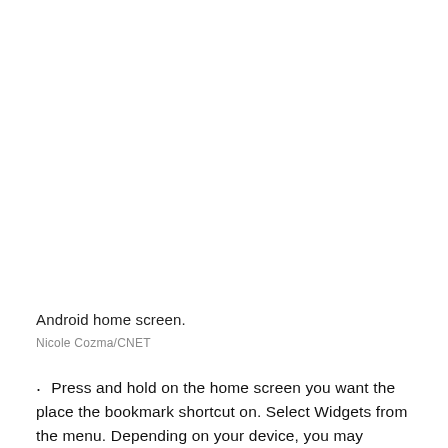[Figure (photo): Android home screen screenshot (image area, blank/white in this view)]
Android home screen.
Nicole Cozma/CNET
Press and hold on the home screen you want the place the bookmark shortcut on. Select Widgets from the menu. Depending on your device, you may